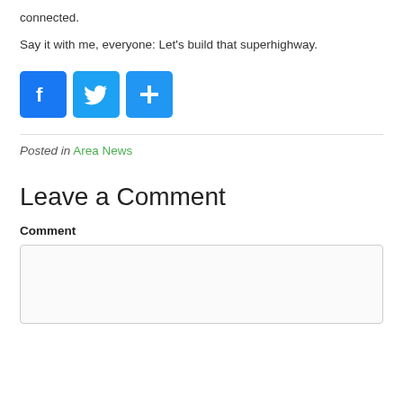connected.
Say it with me, everyone: Let's build that superhighway.
[Figure (infographic): Social share buttons: Facebook (blue f icon), Twitter (blue bird icon), and a blue plus/share icon]
Posted in Area News
Leave a Comment
Comment
[Figure (other): Empty comment text area input box]